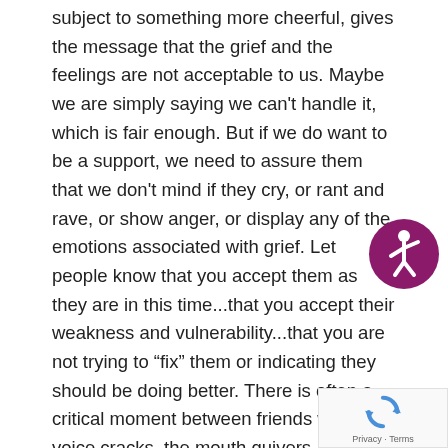subject to something more cheerful, gives the message that the grief and the feelings are not acceptable to us. Maybe we are simply saying we can't handle it, which is fair enough. But if we do want to be a support, we need to assure them that we don't mind if they cry, or rant and rave, or show anger, or display any of the emotions associated with grief. Let people know that you accept them as they are in this time...that you accept their weakness and vulnerability...that you are not trying to "fix" them or indicating they should be doing better. There is often a critical moment between friends when the voice cracks, the mouth quivers, and tears come to the eyes. In that moment, say little or nothing, but reach out, touch the person, perhaps by a gentle hand on the arm, and let them know that it is OK to let it go and express the grief that is being felt
[Figure (illustration): Accessibility icon: a purple circle with a white stick figure in a dynamic pose (universal accessibility symbol)]